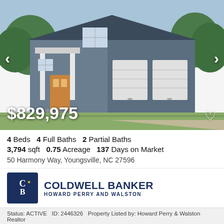[Figure (photo): Front exterior photo of a two-story blue-gray house with white garage doors and wooden front door, green lawn]
$829,975
4 Beds   4 Full Baths   2 Partial Baths
3,794 sqft   0.75 Acreage   137 Days on Market
50 Harmony Way, Youngsville, NC 27596
[Figure (logo): Coldwell Banker Howard Perry and Walston logo]
Status: ACTIVE  ID: 2446326  Property Listed by: Howard Perry & Walston Realtor
4618 Jordan Estates Way, New Hill, NC 27562
5 Beds   4 Full Baths   1 Partial Baths